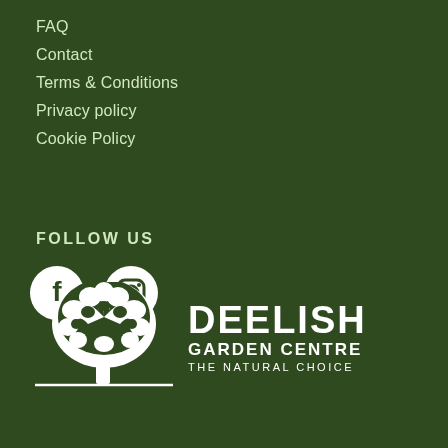FAQ
Contact
Terms & Conditions
Privacy policy
Cookie Policy
FOLLOW US
[Figure (logo): Facebook and Instagram social media icons in white on dark green background]
[Figure (logo): Deelish Garden Centre logo with white tree illustration and text: DEELISH GARDEN CENTRE THE NATURAL CHOICE]